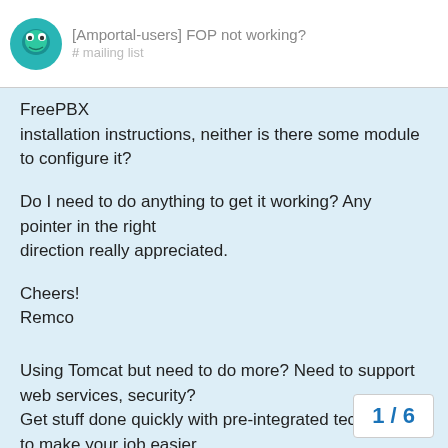[Amportal-users] FOP not working?
FreePBX
installation instructions, neither is there some module to configure it?

Do I need to do anything to get it working? Any pointer in the right
direction really appreciated.

Cheers!
Remco
Using Tomcat but need to do more? Need to support web services, security?
Get stuff done quickly with pre-integrated technology to make your job easier
Download IBM WebSphere Application Server v.1.0.1 based on Apache Geronimo
http://sel.as-us.falkag.net/sel?cmd=lnk&kid=120709&bid=263057&dat=1
1 / 6